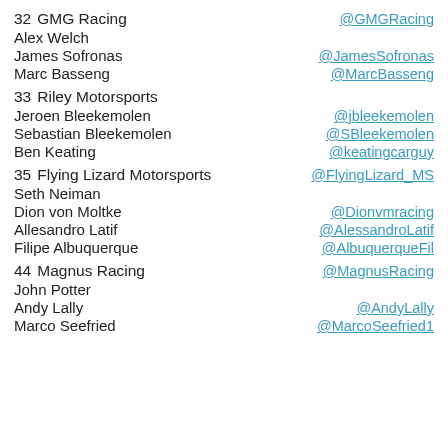32   GMG Racing   @GMGRacing
Alex Welch
James Sofronas   @JamesSofronas
Marc Basseng   @MarcBasseng
33   Riley Motorsports
Jeroen Bleekemolen   @jbleekemolen
Sebastian Bleekemolen   @SBleekemolen
Ben Keating   @keatingcarguy
35   Flying Lizard Motorsports   @FlyingLizard_MS
Seth Neiman
Dion von Moltke   @Dionvmracing
Allesandro Latif   @AlessandroLatif
Filipe Albuquerque   @AlbuquerqueFil
44   Magnus Racing   @MagnusRacing
John Potter
Andy Lally   @AndyLally
Marco Seefried   @MarcoSeefried1